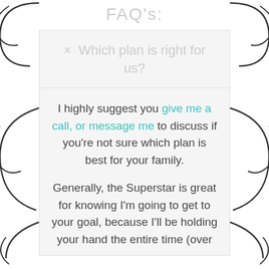FAQ's:
× Which plan is right for us?
I highly suggest you give me a call, or message me to discuss if you're not sure which plan is best for your family.

Generally, the Superstar is great for knowing I'm going to get to your goal, because I'll be holding your hand the entire time (over